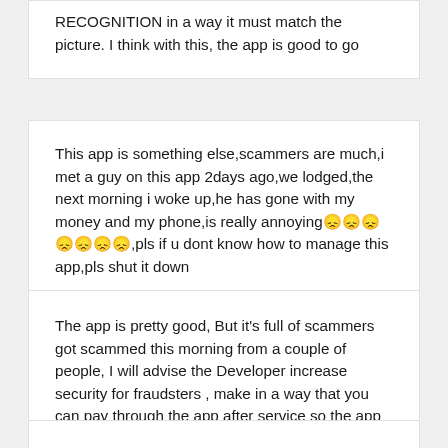RECOGNITION in a way it must match the picture. I think with this, the app is good to go
This app is something else,scammers are much,i met a guy on this app 2days ago,we lodged,the next morning i woke up,he has gone with my money and my phone,is really annoying😞😞😞😞😞😞😞,pls if u dont know how to manage this app,pls shut it down
The app is pretty good, But it's full of scammers got scammed this morning from a couple of people, I will advise the Developer increase security for fraudsters , make in a way that you can pay through the app after service so the app will Like a middle man, check how upwork work's
It's like the app is getting worse. It keeps telling me that my app is out of date yet no update on play store.